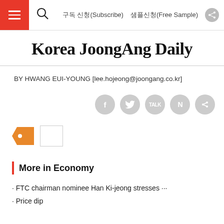구독 신청(Subscribe)  샘플신청(Free Sample)
Korea JoongAng Daily
BY HWANG EUI-YOUNG [lee.hojeong@joongang.co.kr]
[Figure (infographic): Social share icons: Facebook, Twitter, KakaoTalk, Naver, and a share icon in grey circles]
[Figure (infographic): An orange price tag icon and a small white/grey rectangle box next to it]
More in Economy
· FTC chairman nominee Han Ki-jeong stresses ···
· Price dip